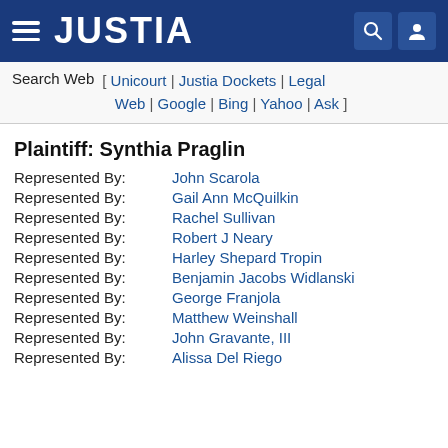JUSTIA
Search Web [ Unicourt | Justia Dockets | Legal Web | Google | Bing | Yahoo | Ask ]
Plaintiff: Synthia Praglin
Represented By: John Scarola
Represented By: Gail Ann McQuilkin
Represented By: Rachel Sullivan
Represented By: Robert J Neary
Represented By: Harley Shepard Tropin
Represented By: Benjamin Jacobs Widlanski
Represented By: George Franjola
Represented By: Matthew Weinshall
Represented By: John Gravante, III
Represented By: Alissa Del Riego